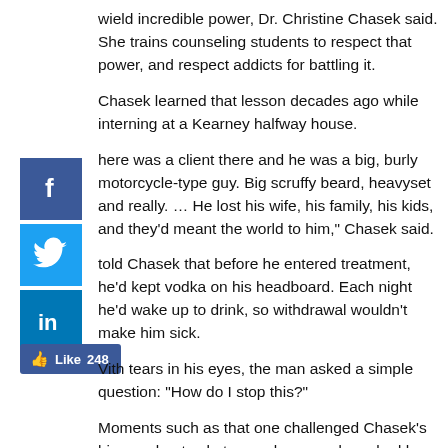wield incredible power, Dr. Christine Chasek said. She trains counseling students to respect that power, and respect addicts for battling it.
Chasek learned that lesson decades ago while interning at a Kearney halfway house.
"There was a client there and he was a big, burly motorcycle-type guy. Big scruffy beard, heavyset and really. … He lost his wife, his family, his kids, and they'd meant the world to him," Chasek said.
He told Chasek that before he entered treatment, he'd kept vodka on his headboard. Each night he'd wake up to drink, so withdrawal wouldn't make him sick.
With tears in his eyes, the man asked a simple question: "How do I stop this?"
Moments such as that one challenged Chasek's biases about substance abuse, and sparked her desire to improve alcohol and drug counseling by improving the way counselors are trained.